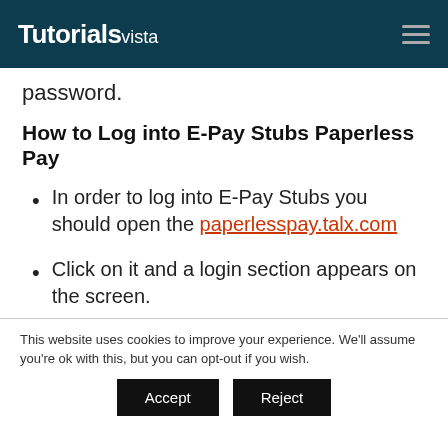Tutorialsvista
password.
How to Log into E-Pay Stubs Paperless Pay
In order to log into E-Pay Stubs you should open the paperlesspay.talx.com
Click on it and a login section appears on the screen.
This website uses cookies to improve your experience. We'll assume you're ok with this, but you can opt-out if you wish.